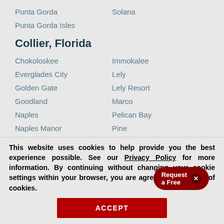Punta Gorda
Solana
Punta Gorda Isles
Collier, Florida
Chokoloskee
Immokalee
Everglades City
Lely
Golden Gate
Lely Resort
Goodland
Marco
Naples
Pelican Bay
Naples Manor
Pine...
[Figure (other): Red pill-shaped popup button with text 'Request a Free' and a close X button]
This website uses cookies to help provide you the best experience possible. See our Privacy Policy for more information. By continuing without changing your cookie settings within your browser, you are agreeing to our use of cookies.
ACCEPT